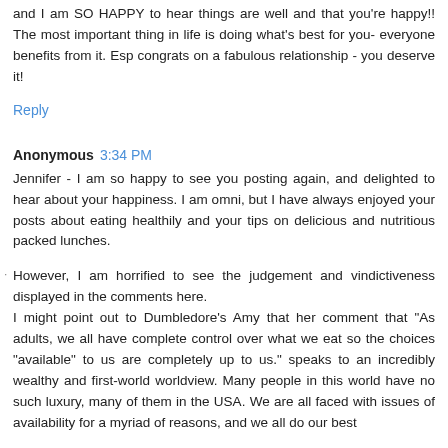and I am SO HAPPY to hear things are well and that you're happy!! The most important thing in life is doing what's best for you- everyone benefits from it. Esp congrats on a fabulous relationship - you deserve it!
Reply
Anonymous 3:34 PM
Jennifer - I am so happy to see you posting again, and delighted to hear about your happiness. I am omni, but I have always enjoyed your posts about eating healthily and your tips on delicious and nutritious packed lunches.
However, I am horrified to see the judgement and vindictiveness displayed in the comments here. I might point out to Dumbledore's Amy that her comment that "As adults, we all have complete control over what we eat so the choices "available" to us are completely up to us." speaks to an incredibly wealthy and first-world worldview. Many people in this world have no such luxury, many of them in the USA. We are all faced with issues of availability for a myriad of reasons, and we all do our best...